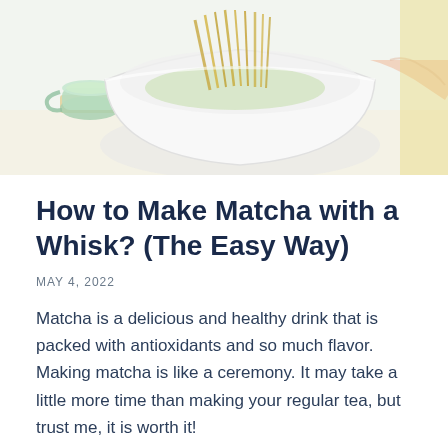[Figure (photo): Photo of a white bowl containing green matcha powder and dry noodles/bamboo whisk, with a small green cup with a handle in the background, on a light surface. A hand is partially visible at the right edge.]
How to Make Matcha with a Whisk? (The Easy Way)
MAY 4, 2022
Matcha is a delicious and healthy drink that is packed with antioxidants and so much flavor. Making matcha is like a ceremony. It may take a little more time than making your regular tea, but trust me, it is worth it!